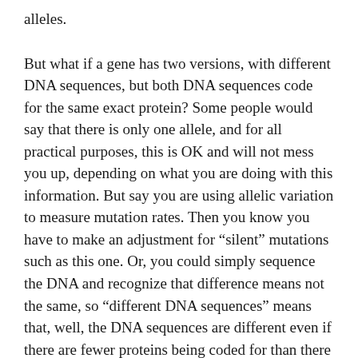alleles.
But what if a gene has two versions, with different DNA sequences, but both DNA sequences code for the same exact protein? Some people would say that there is only one allele, and for all practical purposes, this is OK and will not mess you up, depending on what you are doing with this information. But say you are using allelic variation to measure mutation rates. Then you know you have to make an adjustment for “silent” mutations such as this one. Or, you could simply sequence the DNA and recognize that difference means not the same, so “different DNA sequences” means that, well, the DNA sequences are different even if there are fewer proteins being coded for than there are differences.
A quick review of something you probably know, but just in case: A mutation is a change in DNA whereby one of the base pairs is changed at a particular point in the DNA